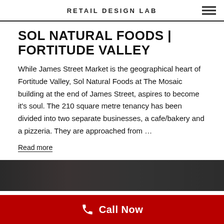RETAIL DESIGN LAB
SOL NATURAL FOODS | FORTITUDE VALLEY
While James Street Market is the geographical heart of Fortitude Valley, Sol Natural Foods at The Mosaic building at the end of James Street, aspires to become it's soul. The 210 square metre tenancy has been divided into two separate businesses, a cafe/bakery and a pizzeria. They are approached from …
Read more
[Figure (photo): Dark interior photo strip of Sol Natural Foods]
Call Now